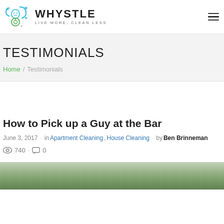[Figure (logo): Whystle logo with icon and tagline LIVE MORE, CLEAN LESS]
TESTIMONIALS
Home / Testimonials
How to Pick up a Guy at the Bar
June 3, 2017 · in Apartment Cleaning, House Cleaning · by Ben Brinneman
740 · 0
[Figure (photo): Partial outdoor/nature photo at bottom of page]